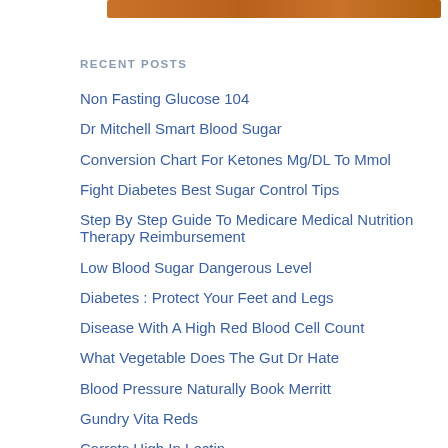[Figure (photo): Partial image bar at top, brownish/wood-toned color strip]
RECENT POSTS
Non Fasting Glucose 104
Dr Mitchell Smart Blood Sugar
Conversion Chart For Ketones Mg/DL To Mmol
Fight Diabetes Best Sugar Control Tips
Step By Step Guide To Medicare Medical Nutrition Therapy Reimbursement
Low Blood Sugar Dangerous Level
Diabetes : Protect Your Feet and Legs
Disease With A High Red Blood Cell Count
What Vegetable Does The Gut Dr Hate
Blood Pressure Naturally Book Merritt
Gundry Vita Reds
Carrots High In Lectin
Ocotea and Blood Sugar
3 Superfoods To Never Eat